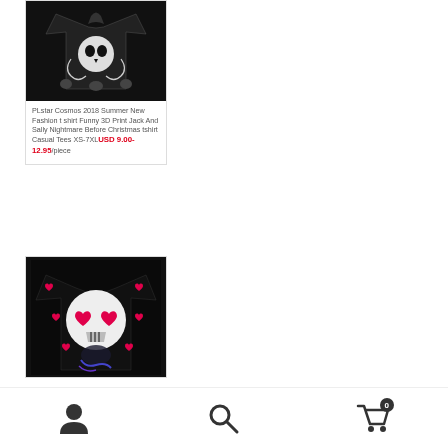[Figure (photo): Black t-shirt with Nightmare Before Christmas Jack and Sally 3D print design]
PLstar Cosmos 2018 Summer New Fashion t shirt Funny 3D Print Jack And Sally Nightmare Before Christmas tshirt Casual Tees XS-7XL USD 9.00-12.95/piece
[Figure (photo): Black sweatshirt with Jack Skellington heart eyes and pink hearts 3D print design]
[Figure (other): Bottom navigation bar with user profile icon, search icon, and shopping cart icon with badge showing 0]